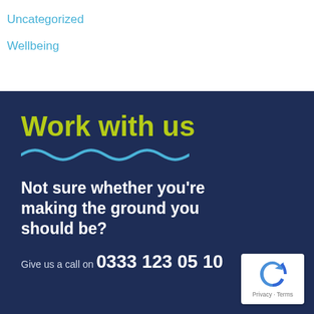Uncategorized
Wellbeing
[Figure (infographic): Dark navy blue banner with 'Work with us' in bold yellow-green text, a teal wavy underline, bold white text reading 'Not sure whether you're making the ground you should be?', and a call-to-action line 'Give us a call on 0333 123 05 10' with a reCAPTCHA badge in the bottom right corner.]